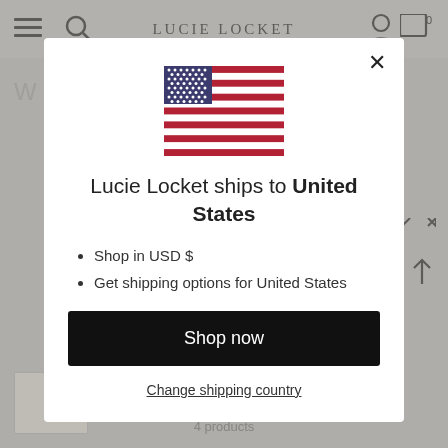LUCIE LOCKET
[Figure (screenshot): US flag SVG inline illustration]
Lucie Locket ships to United States
Shop in USD $
Get shipping options for United States
Shop now
Change shipping country